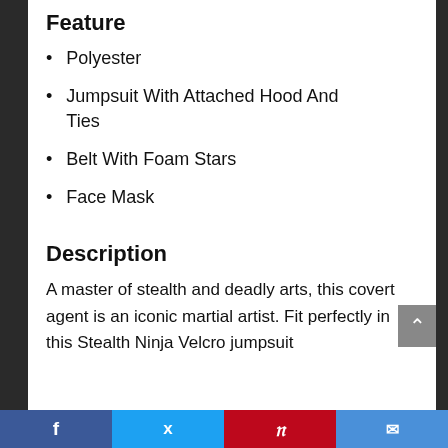Feature
Polyester
Jumpsuit With Attached Hood And Ties
Belt With Foam Stars
Face Mask
Description
A master of stealth and deadly arts, this covert agent is an iconic martial artist. Fit perfectly in this Stealth Ninja Velcro jumpsuit